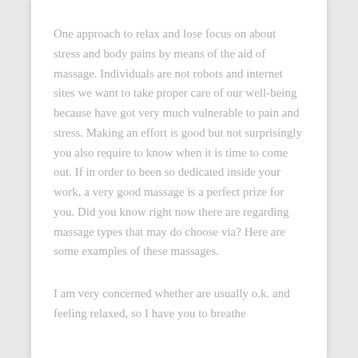One approach to relax and lose focus on about stress and body pains by means of the aid of massage. Individuals are not robots and internet sites we want to take proper care of our well-being because have got very much vulnerable to pain and stress. Making an effort is good but not surprisingly you also require to know when it is time to come out. If in order to been so dedicated inside your work, a very good massage is a perfect prize for you. Did you know right now there are regarding massage types that may do choose via? Here are some examples of these massages.
I am very concerned whether are usually o.k. and feeling relaxed, so I have you to breathe